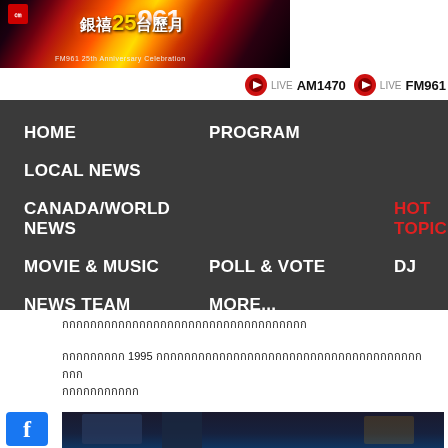[Figure (illustration): FM961 25th Anniversary Celebration banner with colorful stage lights, red and gold colors, Chinese text '銀禧25台歷月' and English text 'FM961 25th Anniversary Celebration']
[Figure (infographic): LIVE AM1470 and LIVE FM961 radio stream buttons with red circular icons]
[Figure (screenshot): Navigation bar with dark gray background containing menu items: HOME, PROGRAM, LOCAL NEWS, CANADA/WORLD NEWS, HOT TOPICS (in red), MOVIE & MUSIC, POLL & VOTE, DJ, NEWS TEAM, MORE...]
กกกกกกกกกกกกกกกกกกกกกกกกกกกกกกกกกกก
กกกกกกกกก 1995 กกกกกกกกกกกกกกกกกกกกกกกกกกกกกกกกกกกกกกกกก กกกกกกกกกกก
[Figure (photo): Dark nighttime street scene photograph showing buildings]